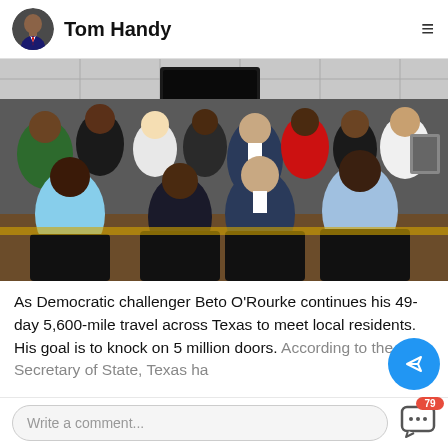Tom Handy
[Figure (photo): Group photo of Beto O'Rourke seated among a crowd of local residents in an indoor setting, with a TV monitor visible on the wall behind them.]
As Democratic challenger Beto O'Rourke continues his 49-day 5,600-mile travel across Texas to meet local residents. His goal is to knock on 5 million doors. According to the Secretary of State, Texas ha